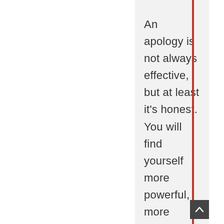An apology is not always effective, but at least it's honest. You will find yourself more powerful, more attractive, and more at ease with who you